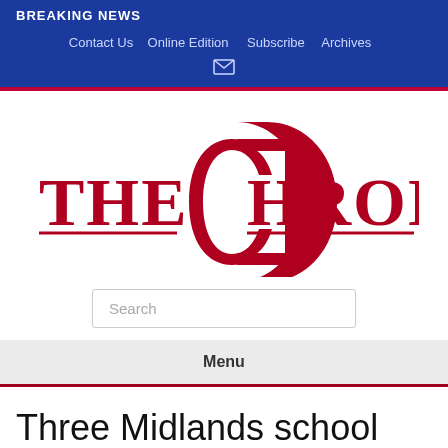BREAKING NEWS
Contact Us  Online Edition  Subscribe  Archives
[Figure (logo): THE CHRONICLE newspaper logo with large ornate red C letter and gothic text]
Search
Menu
Three Midlands school leaders earn top South